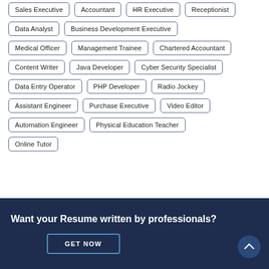Sales Executive
Accountant
HR Executive
Receptionist
Data Analyst
Business Development Executive
Medical Officer
Management Trainee
Chartered Accountant
Content Writer
Java Developer
Cyber Security Specialist
Data Entry Operator
PHP Developer
Radio Jockey
Assistant Engineer
Purchase Executive
Video Editor
Automation Engineer
Physical Education Teacher
Online Tutor
Want your Resume written by professionals?
GET NOW